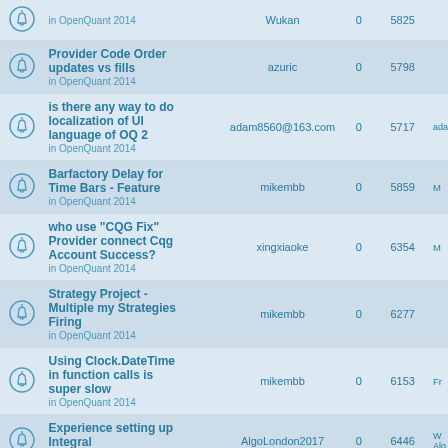|  | Topic | Author | Replies | Views | Last Post |
| --- | --- | --- | --- | --- | --- |
| [icon] | Provider Code Order updates vs fills
in OpenQuant 2014 | azuric | 0 | 5798 |  |
| [icon] | is there any way to do localization of UI language of OQ 2
in OpenQuant 2014 | adam8560@163.com | 0 | 5717 | ada |
| [icon] | Barfactory Delay for Time Bars - Feature
in OpenQuant 2014 | mikembb | 0 | 5859 | M |
| [icon] | who use "CQG Fix" Provider connect Cqg Account Success?
in OpenQuant 2014 | xingxiaoke | 0 | 6354 | M |
| [icon] | Strategy Project - Multiple my Strategies Firing
in OpenQuant 2014 | mikembb | 0 | 6277 |  |
| [icon] | Using Clock.DateTime in function calls is super slow
in OpenQuant 2014 | mikembb | 0 | 6153 | Fr |
| [icon] | Experience setting up Integral
in OpenQuant 2014 | AlgoLondon2017 | 0 | 6446 | Alg |
| [icon] | OQ2014 Freelancer For |  |  |  |  |